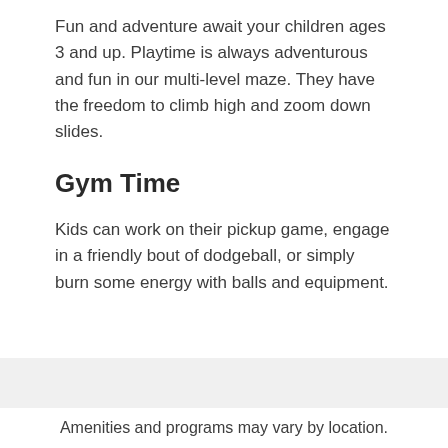Fun and adventure await your children ages 3 and up. Playtime is always adventurous and fun in our multi-level maze. They have the freedom to climb high and zoom down slides.
Gym Time
Kids can work on their pickup game, engage in a friendly bout of dodgeball, or simply burn some energy with balls and equipment.
Amenities and programs may vary by location.